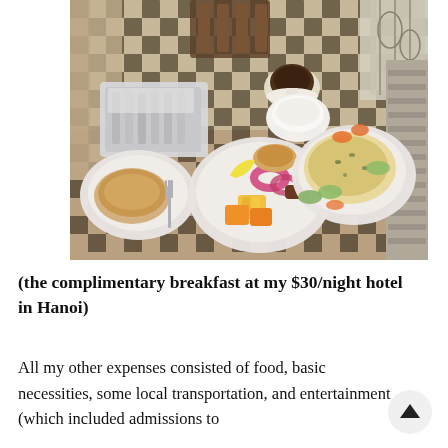[Figure (photo): A complimentary hotel breakfast spread on a checkered tablecloth: plates with bread roll, assorted fruits (pineapple, papaya, passion fruit), omelet with cucumber and carrots, cutlery on a silver tray, a coffee cup and yogurt/cream bowl in the background. Wooden chair visible behind, ornate window balcony at right.]
(the complimentary breakfast at my $30/night hotel in Hanoi)
All my other expenses consisted of food, basic necessities, some local transportation, and entertainment (which included admissions to